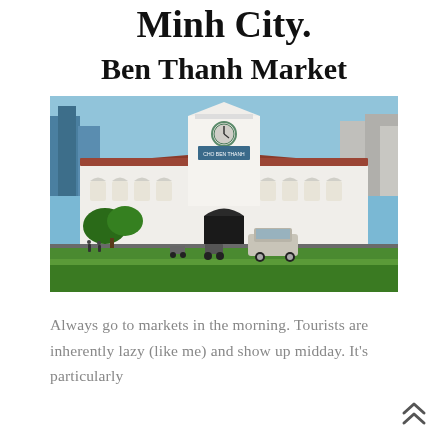Minh City.
Ben Thanh Market
[Figure (photo): Exterior view of Ben Thanh Market in Ho Chi Minh City, Vietnam. A large white colonial-style building with a prominent clock tower at the center entrance, red-tiled roof wings on either side with arched windows, lush green hedges and lawn in the foreground, cars and motorbikes on the road, and city buildings in the background under a blue sky.]
Always go to markets in the morning. Tourists are inherently lazy (like me) and show up midday. It’s particularly